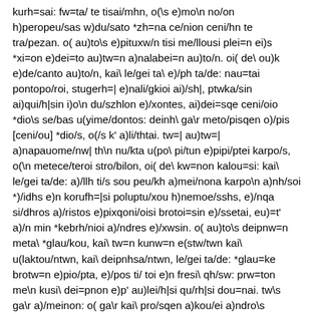kurh=sai: fw=ta/ te tisai/mhn, o(\s e)mo\n no/on h)peropeu/sas w)du/sato *zh=na ce/nion ceni/hn te tra/pezan. o( au)to\s e)pituxw/n tisi me/llousi plei=n ei)s *xi=on e)dei=to au)tw=n a)nalabei=n au)to/n. oi( de\ ou)k e)de/canto au)to/n, kai\ le/gei ta\ e)/ph ta/de: nau=tai pontopo/roi, stugerh=| e)nali/gkioi ai)/sh|, ptwka/sin ai)qui/h|sin i)o\n du/szhlon e)/xontes, ai)dei=sqe ceni/oio *dio\s se/bas u(yime/dontos: deinh\ ga\r meto/pisqen o)/pis [ceni/ou] *dio/s, o(/s k' a)li/thtai. tw=| au)tw=| a)napauome/nw| th\n nu/kta u(po\ pi/tun e)pipi/ptei karpo/s, o(\n metece/teroi stro/bilon, oi( de\ kw=non kalou=si: kai\ le/gei ta/de: a)/llh ti/s sou peu/kh a)mei/nona karpo\n a)nh/soi *)/idhs e)n korufh=|si poluptu/xou h)nemoe/sshs, e)/nqa si/dhros a)/ristos e)pixqoni/oisi brotoi=sin e)/ssetai, eu)=t' a)/n min *kebrh/nioi a)/ndres e)/xwsin. o( au)to\s deipnw=n meta\ *glau/kou, kai\ tw=n kunw=n e(stw/twn kai\ u(laktou/ntwn, kai\ deipnhsa/ntwn, le/gei ta/de: *glau=ke brotw=n e)pio/pta, e)/pos ti/ toi e)n fresi\ qh/sw: prw=ton me\n kusi\ dei=pnon e)p' au)lei/h|si qu/rh|si dou=nai. tw\s ga\r a)/meinon: o( ga\r kai\ pro/sqen a)kou/ei a)ndro\s e)perxome/nou kai\ e)s e(/rkea qhro\s i)o/ntos. tau=ta a)kou/sas o( *glau=kos e)qau/mase. to\n au)to\n i)do/ntes kerame/es ka/minon e)gka/ontes kera/mou leptou= prosekale/santo au)to/n, pepusme/noi o(/ti sofo\s ei)/h, kai\ e)ke/leuon sfi/sin a)ei=sai, fa/menoi dw/sein